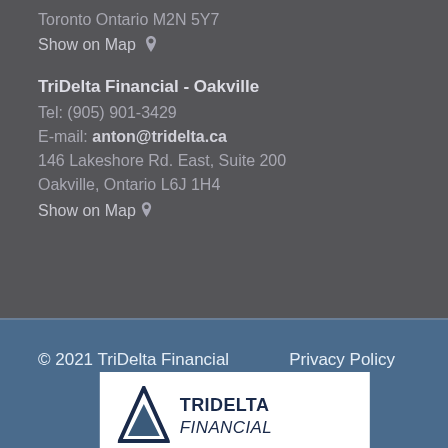Toronto Ontario M2N 5Y7
Show on Map
TriDelta Financial - Oakville
Tel: (905) 901-3429
E-mail: anton@tridelta.ca
146 Lakeshore Rd. East, Suite 200
Oakville, Ontario L6J 1H4
Show on Map
© 2021 TriDelta Financial    Privacy Policy
[Figure (logo): TriDelta Financial logo with triangle icon and company name]